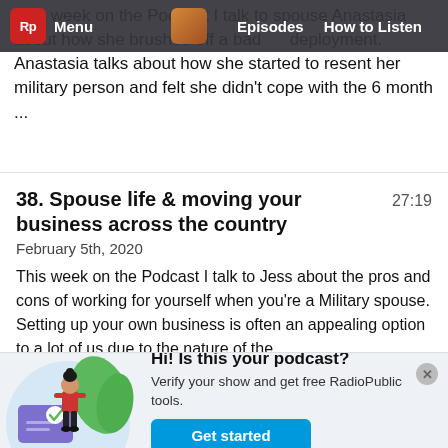Rp Menu | Episodes | How to Listen
This week on the Podcast I talk to spouse Anastasia about how she brushed off a bad deployment. Anastasia talks about how she started to resent her military person and felt she didn't cope with the 6 month ...
38. Spouse life & moving your business across the country
27:19
February 5th, 2020
This week on the Podcast I talk to Jess about the pros and cons of working for yourself when you're a Military spouse. Setting up your own business is often an appealing option to a lot of us due to the nature of the ...
[Figure (illustration): Illustration of a woman in red top and black pants standing next to a large verification card with a checkmark, surrounded by green leaves, on a light blue circular background]
Hi! Is this your podcast? Verify your show and get free RadioPublic tools. Get started